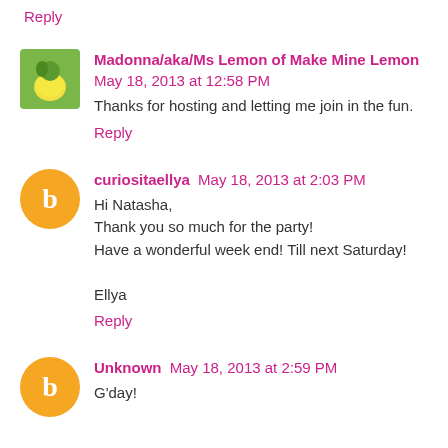Reply
Madonna/aka/Ms Lemon of Make Mine Lemon May 18, 2013 at 12:58 PM
Thanks for hosting and letting me join in the fun.
Reply
curiositaellya May 18, 2013 at 2:03 PM
Hi Natasha,
Thank you so much for the party!
Have a wonderful week end! Till next Saturday!

Ellya
Reply
Unknown May 18, 2013 at 2:59 PM
G'day!